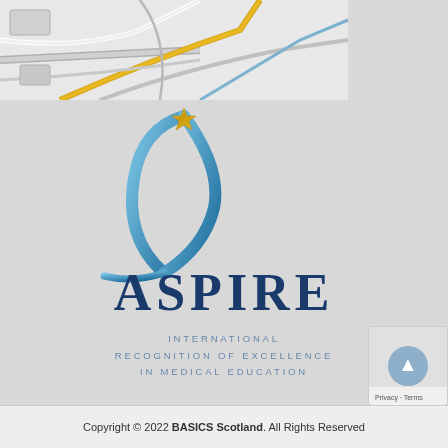[Figure (map): Partial street map shown at top of page as a decorative background strip]
[Figure (logo): ASPIRE logo: a blue swooping arch shape with a gold star at the top, followed by the word ASPIRE in large dark blue serif letters, and the tagline INTERNATIONAL RECOGNITION OF EXCELLENCE IN MEDICAL EDUCATION]
Copyright © 2022 BASICS Scotland. All Rights Reserved